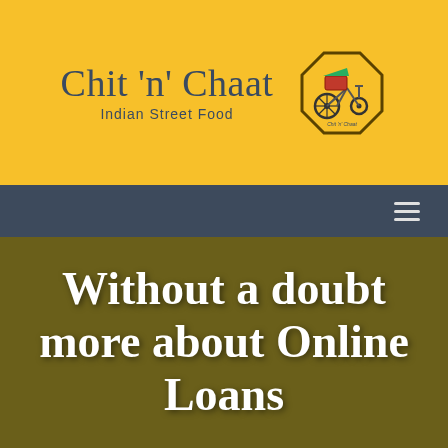[Figure (logo): Chit 'n' Chaat Indian Street Food logo with brand name text and octagonal emblem featuring a bicycle rickshaw illustration]
≡
Without a doubt more about Online Loans